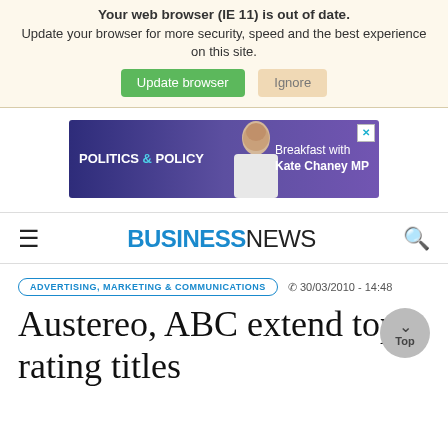Your web browser (IE 11) is out of date. Update your browser for more security, speed and the best experience on this site.
Update browser | Ignore
[Figure (infographic): Advertisement banner for Politics & Policy - Breakfast with Kate Chaney MP, purple gradient background with photo of woman]
BUSINESSNEWS
ADVERTISING, MARKETING & COMMUNICATIONS  30/03/2010 - 14:48
Austereo, ABC extend top rating titles